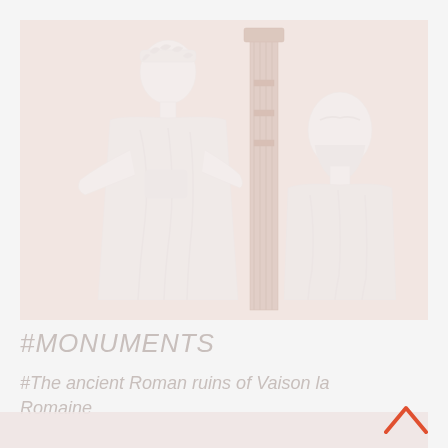[Figure (photo): Faded/washed-out photograph of ancient Roman stone statues or relief sculptures, showing two standing figures in robes or togas, likely from Vaison la Romaine archaeological site. The image has a very light, almost white washed appearance.]
#MONUMENTS
#The ancient Roman ruins of Vaison la Romaine